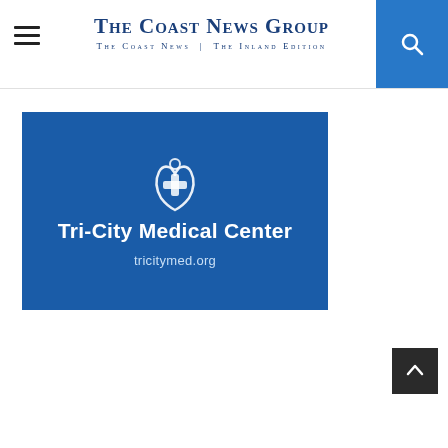The Coast News Group — The Coast News | The Inland Edition
[Figure (logo): Tri-City Medical Center advertisement banner with logo icon, name 'Tri-City Medical Center' and website 'tricitymed.org' on a blue background]